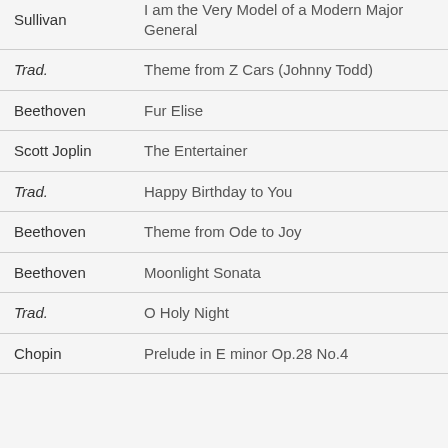| Composer | Title |
| --- | --- |
| Sullivan | I am the Very Model of a Modern Major General |
| Trad. | Theme from Z Cars (Johnny Todd) |
| Beethoven | Fur Elise |
| Scott Joplin | The Entertainer |
| Trad. | Happy Birthday to You |
| Beethoven | Theme from Ode to Joy |
| Beethoven | Moonlight Sonata |
| Trad. | O Holy Night |
| Chopin | Prelude in E minor Op.28 No.4 |